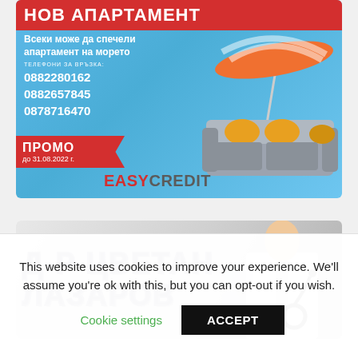[Figure (infographic): EasyCredit advertisement for a new apartment promotion. Red banner at top with 'НОВ АПАРТАМЕНТ', subtitle 'Всеки може да спечели апартамент на морето', phone numbers 0882280162, 0882657845, 0878716470, promo ribbon 'ПРОМО до 31.08.2022 г.', EASYCREDIT logo, beach umbrella and sofa illustration on blue sky background.]
[Figure (infographic): Medical advertisement for Д-Р ЦВЕТАН ЛАЗАРОВ (Dr. Tsvetan Lazarov). Large bold text in blue-outlined block letters on grey background with doctor in white coat and stethoscope on the right side.]
This website uses cookies to improve your experience. We'll assume you're ok with this, but you can opt-out if you wish.
Cookie settings   ACCEPT